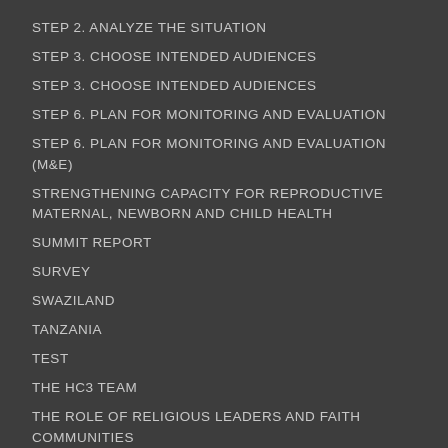STEP 2. ANALYZE THE SITUATION
STEP 3. CHOOSE INTENDED AUDIENCES
STEP 3. CHOOSE INTENDED AUDIENCES
STEP 6. PLAN FOR MONITORING AND EVALUATION
STEP 6. PLAN FOR MONITORING AND EVALUATION (M&E)
STRENGTHENING CAPACITY FOR REPRODUCTIVE MATERNAL, NEWBORN AND CHILD HEALTH
SUMMIT REPORT
SURVEY
SWAZILAND
TANZANIA
TEST
THE HC3 TEAM
THE ROLE OF RELIGIOUS LEADERS AND FAITH COMMUNITIES
THE SBCC CAPACITY ECOSYSTEM